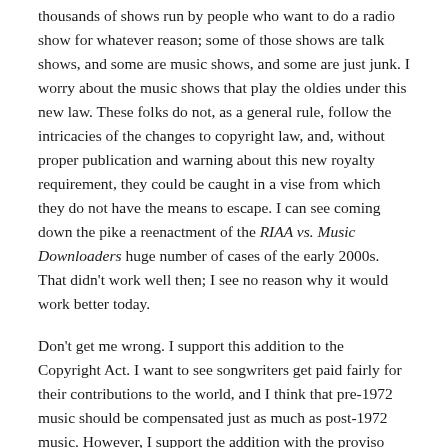thousands of shows run by people who want to do a radio show for whatever reason; some of those shows are talk shows, and some are music shows, and some are just junk. I worry about the music shows that play the oldies under this new law. These folks do not, as a general rule, follow the intricacies of the changes to copyright law, and, without proper publication and warning about this new royalty requirement, they could be caught in a vise from which they do not have the means to escape. I can see coming down the pike a reenactment of the RIAA vs. Music Downloaders huge number of cases of the early 2000s. That didn't work well then; I see no reason why it would work better today.
Don't get me wrong. I support this addition to the Copyright Act. I want to see songwriters get paid fairly for their contributions to the world, and I think that pre-1972 music should be compensated just as much as post-1972 music. However, I support the addition with the proviso that the public be thoroughly and completely noticed using communication means that they simply cannot miss getting something through even the faintest radar about this new law. I want to see and